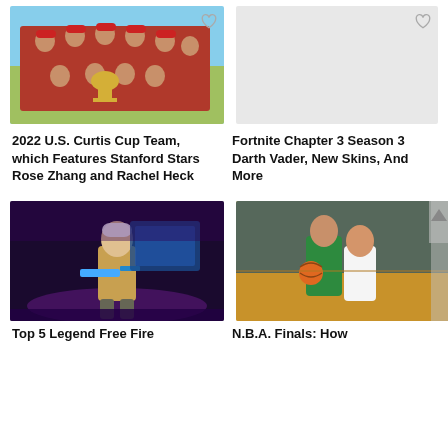[Figure (photo): Group of women in red jackets and red caps holding a trophy, Curtis Cup team photo]
[Figure (photo): Placeholder / blank area with heart icon for Fortnite article]
2022 U.S. Curtis Cup Team, which Features Stanford Stars Rose Zhang and Rachel Heck
Fortnite Chapter 3 Season 3 Darth Vader, New Skins, And More
[Figure (photo): Free Fire video game screenshot showing a character with guns in a sci-fi arena]
[Figure (photo): NBA Finals basketball game, Celtics player dribbling against Warriors player]
Top 5 Legend Free Fire
N.B.A. Finals: How